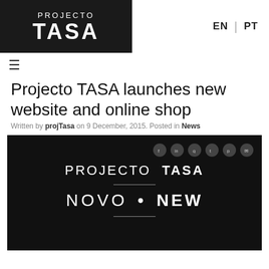PROJECTO TASA | EN | PT
Projecto TASA launches new website and online shop
Written by projTasa on 9 December, 2015. Posted in News
[Figure (screenshot): Screenshot of the Projecto TASA website showing the new site header with social media icons, the PROJECTO TASA logo in white on black background, a horizontal line, and the text NOVO • NEW below it.]